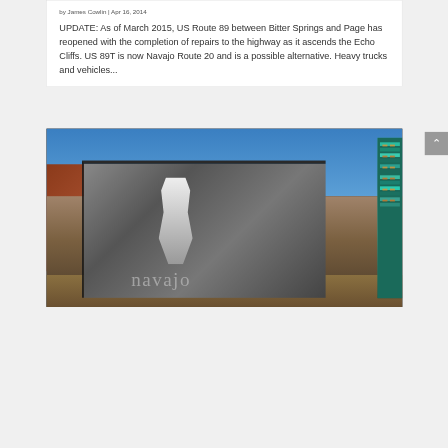by James Cowlin | Apr 16, 2014
UPDATE: As of March 2015, US Route 89 between Bitter Springs and Page has reopened with the completion of repairs to the highway as it ascends the Echo Cliffs. US 89T is now Navajo Route 20 and is a possible alternative. Heavy trucks and vehicles...
[Figure (photo): Outdoor photo showing a large black-and-white billboard or art installation in a desert landscape. The billboard features a figure in white clothing in a field. To the right is a panel with colorful Native American geometric patterns. Red cliffs and blue sky are visible in the background.]